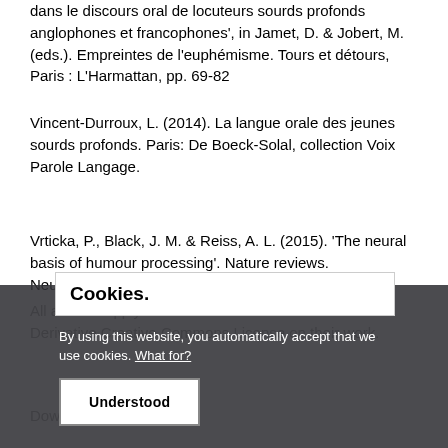dans le discours oral de locuteurs sourds profonds anglophones et francophones', in Jamet, D. & Jobert, M. (eds.). Empreintes de l'euphémisme. Tours et détours, Paris : L'Harmattan, pp. 69-82
Vincent-Durroux, L. (2014). La langue orale des jeunes sourds profonds. Paris: De Boeck-Solal, collection Voix Parole Langage.
Vrticka, P., Black, J. M. & Reiss, A. L. (2015). 'The neural basis of humour processing'. Nature reviews. Neuroscience. MacMillan Publishers Ltd, pp. 1-9.
[Figure (screenshot): Cookie consent banner overlay on a dark semi-transparent background. Contains title 'Cookies.', body text 'By using this website, you automatically accept that we use cookies. What for?' with a link, and an 'Understood' button.]
All authors apply Attribution Non-Commercial Non-Derivative Creative Commons License on their work.
Downloads